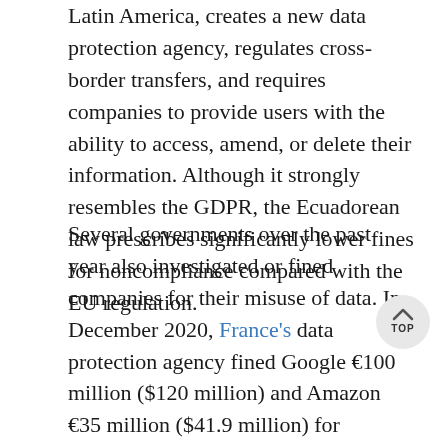Latin America, creates a new data protection agency, regulates cross-border transfers, and requires companies to provide users with the ability to access, amend, or delete their information. Although it strongly resembles the GDPR, the Ecuadorean law prescribes significantly lower fines for noncompliance compared with the EU regulation.
Several governments over the past year also investigated or fined companies for their misuse of data. In December 2020, France's data protection agency fined Google €100 million ($120 million) and Amazon €35 million ($41.9 million) for breaching the country's French Data Protection Act. Italy's data protection authority fined the telecom provider Wind €17 million ($20.3 million) for unlawful data processing and the provider Iliad €800,000 ($958,000) for violating the GDPR in data...